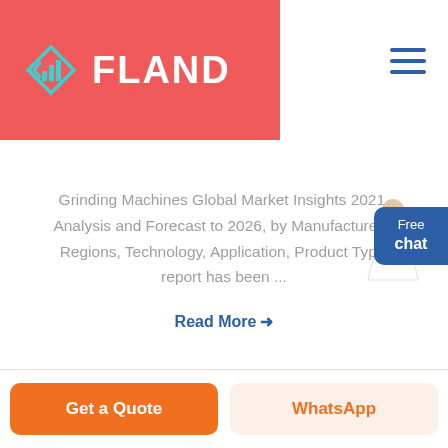[Figure (logo): Fland logo: diamond/arrow icon in teal and blue on red background, with white bold text FLAND beside it]
[Figure (other): Hamburger menu icon (three horizontal dark blue lines) in top right corner]
Grinding Machines Global Market Insights 2021, Analysis and Forecast to 2026, by Manufacturers, Regions, Technology, Application, Product Type' report has been ...
Read More →
[Figure (photo): Customer service agent figure (person in white pointing) next to a blue Free chat bubble]
Get a Quote
WhatsApp